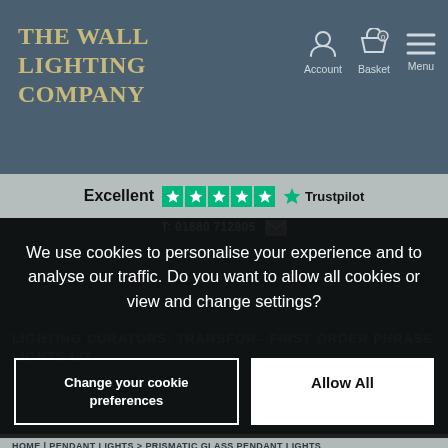THE WALL LIGHTING COMPANY
[Figure (other): Trustpilot Excellent rating with 5 green stars and Trustpilot logo]
T: 01680 712805
We use cookies to personalise your experience and to analyse our traffic. Do you want to allow all cookies or view and change settings?
Change your cookie preferences
Allow All
LIGHTING CURATORS. TRANSFORMING – first order phrase LIGHTS lit
HOME | PENDANT LIGHTS > PRISMATIC GLASS PENDANT LIGHTS
PRISMATIC GLASS PENDANT LIGHTS